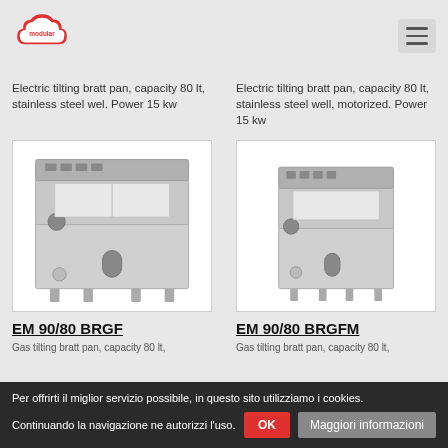[Figure (logo): Modular brand logo - red cloud shape with 'modular' text]
Electric tilting bratt pan, capacity 80 lt, stainless steel wel. Power 15 kw
Electric tilting bratt pan, capacity 80 lt, stainless steel well, motorized. Power 15 kw
[Figure (photo): Electric tilting bratt pan EM 90/80 BRGF - stainless steel commercial kitchen equipment]
[Figure (photo): Electric tilting bratt pan EM 90/80 BRGFM - stainless steel commercial kitchen equipment, motorized]
EM 90/80 BRGF
EM 90/80 BRGFM
Gas tilting bratt pan, capacity 80 lt,
Gas tilting bratt pan, capacity 80 lt,
Per offrirti il miglior servizio possibile, in questo sito utilizziamo i cookies. Continuando la navigazione ne autorizzi l'uso.